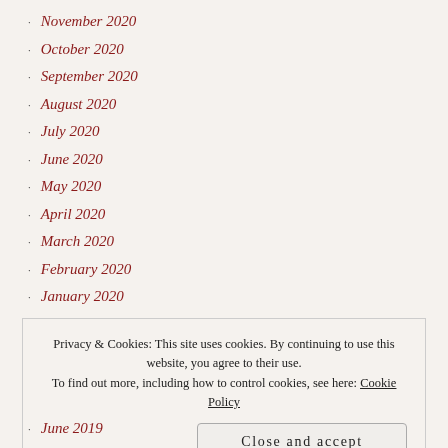November 2020
October 2020
September 2020
August 2020
July 2020
June 2020
May 2020
April 2020
March 2020
February 2020
January 2020
December 2019
Privacy & Cookies: This site uses cookies. By continuing to use this website, you agree to their use. To find out more, including how to control cookies, see here: Cookie Policy
June 2019